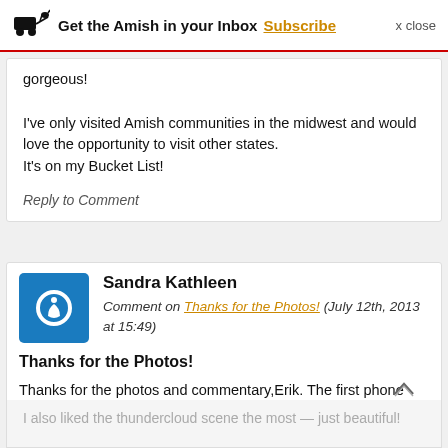Get the Amish in your Inbox Subscribe x close
gorgeous!

I've only visited Amish communities in the midwest and would love the opportunity to visit other states.
It's on my Bucket List!
Reply to Comment
Sandra Kathleen
Comment on Thanks for the Photos! (July 12th, 2013 at 15:49)
Thanks for the Photos!
Thanks for the photos and commentary,Erik. The first phone shanty looked like it could have been a shower… with all the items lining the window sill! 😀
I also liked the thundercloud scene the most — just beautiful!